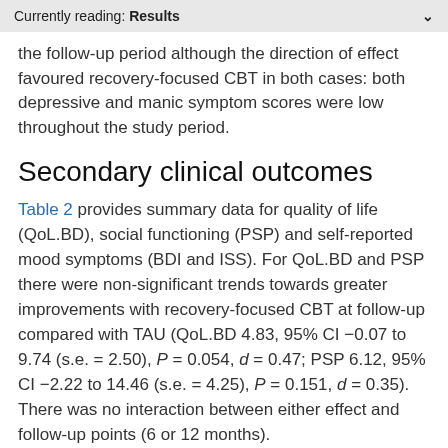Currently reading: Results
the follow-up period although the direction of effect favoured recovery-focused CBT in both cases: both depressive and manic symptom scores were low throughout the study period.
Secondary clinical outcomes
Table 2 provides summary data for quality of life (QoL.BD), social functioning (PSP) and self-reported mood symptoms (BDI and ISS). For QoL.BD and PSP there were non-significant trends towards greater improvements with recovery-focused CBT at follow-up compared with TAU (QoL.BD 4.83, 95% CI −0.07 to 9.74 (s.e. = 2.50), P = 0.054, d = 0.47; PSP 6.12, 95% CI −2.22 to 14.46 (s.e. = 4.25), P = 0.151, d = 0.35). There was no interaction between either effect and follow-up points (6 or 12 months).